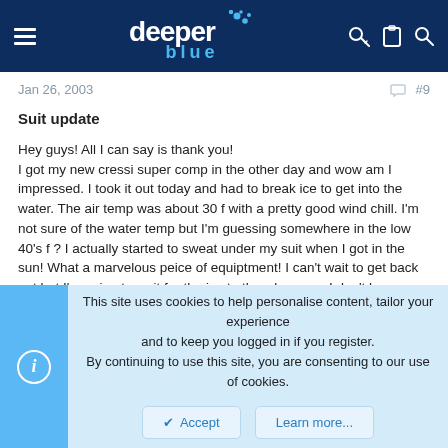deeper blue (website header with navigation icons)
Jan 26, 2003   #9
Suit update
Hey guys! All I can say is thank you!
I got my new cressi super comp in the other day and wow am I impressed. I took it out today and had to break ice to get into the water. The air temp was about 30 f with a pretty good wind chill. I'm not sure of the water temp but I'm guessing somewhere in the low 40's f ? I actually started to sweat under my suit when I got in the sun! What a marvelous peice of equiptment! I can't wait to get back out but I'm going to wait for the ice to thaw because I don't have a dive buddy.

So in short, thank you to all who recommended such a great suit! 🙂
This site uses cookies to help personalise content, tailor your experience and to keep you logged in if you register.
By continuing to use this site, you are consenting to our use of cookies.